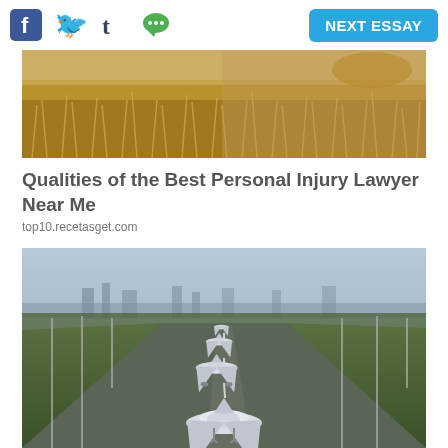[Figure (screenshot): Top navigation bar with social media icons (Facebook, Twitter, Tumblr, chat/speech bubble) on the left and a cyan 'NEXT ESSAY' button on the right]
[Figure (photo): Photograph of dry golden grass / hay field]
Qualities of the Best Personal Injury Lawyer Near Me
top10.recetasget.com
[Figure (photo): Aerial photograph of multiple airplanes lined up on an airport runway, viewed from front-on perspective with city skyline in the background]